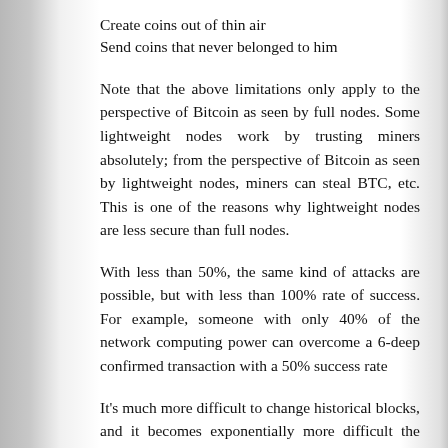Create coins out of thin air
Send coins that never belonged to him
Note that the above limitations only apply to the perspective of Bitcoin as seen by full nodes. Some lightweight nodes work by trusting miners absolutely; from the perspective of Bitcoin as seen by lightweight nodes, miners can steal BTC, etc. This is one of the reasons why lightweight nodes are less secure than full nodes.
With less than 50%, the same kind of attacks are possible, but with less than 100% rate of success. For example, someone with only 40% of the network computing power can overcome a 6-deep confirmed transaction with a 50% success rate
It's much more difficult to change historical blocks, and it becomes exponentially more difficult the further back you go. As above